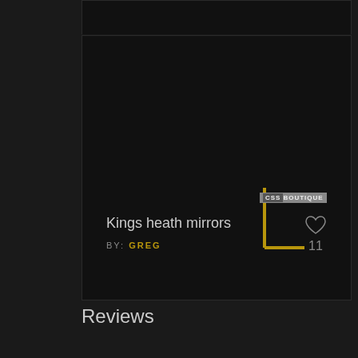[Figure (screenshot): Dark themed card UI showing 'Kings heath mirrors' post by GREG with a golden L-shaped logo mark and CSS Boutique badge overlay, with a heart/like icon showing 11 likes]
Kings heath mirrors
BY: GREG
11
Reviews